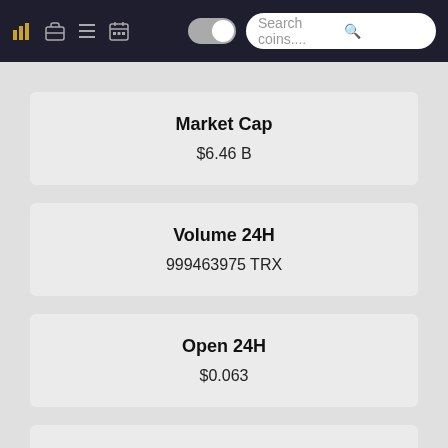Search coins....
Market Cap
$6.46 B
Volume 24H
999463975 TRX
Open 24H
$0.063
Low/High
$0.062 - $0.064